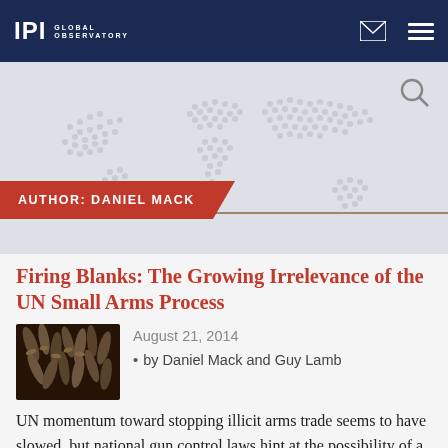IPI GLOBAL OBSERVATORY
[Figure (screenshot): World map dotted background with search icon, author banner reading AUTHOR: DANIEL MACK in red]
Firing Blanks: The Growing Irrelevance of the UN Small Arms Process
[Figure (photo): Photo of bullet casings/shells piled together]
August 21, 2014
by Daniel Mack and Guy Lamb
UN momentum toward stopping illicit arms trade seems to have slowed, but national gun control laws hint at the possibility of a successful bottom-up approach.